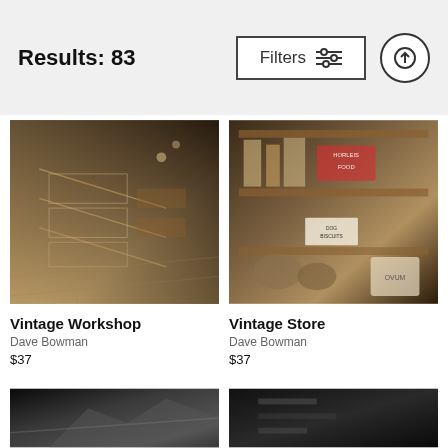Results: 83
Filters
[Figure (photo): Vintage workshop interior with wooden shelving units and drawers, warm moody lighting]
Vintage Workshop
Dave Bowman
$37
[Figure (photo): Vintage store shelf with old food tins, packages, signs including Horleis Food and Dog Biscuits, and Ovum sacks]
Vintage Store
Dave Bowman
$37
[Figure (photo): Dark close-up partial image of black leather or metal industrial object]
[Figure (photo): Dark close-up partial image of industrial machinery or equipment]